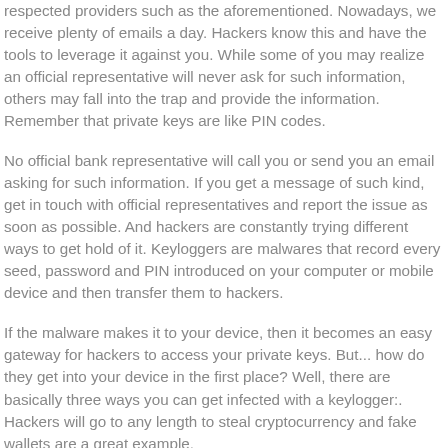respected providers such as the aforementioned. Nowadays, we receive plenty of emails a day. Hackers know this and have the tools to leverage it against you. While some of you may realize an official representative will never ask for such information, others may fall into the trap and provide the information. Remember that private keys are like PIN codes.
No official bank representative will call you or send you an email asking for such information. If you get a message of such kind, get in touch with official representatives and report the issue as soon as possible. And hackers are constantly trying different ways to get hold of it. Keyloggers are malwares that record every seed, password and PIN introduced on your computer or mobile device and then transfer them to hackers.
If the malware makes it to your device, then it becomes an easy gateway for hackers to access your private keys. But... how do they get into your device in the first place? Well, there are basically three ways you can get infected with a keylogger:. Hackers will go to any length to steal cryptocurrency and fake wallets are a great example.